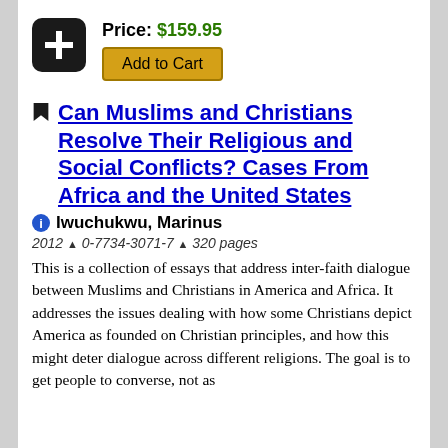[Figure (logo): Black rounded square with white plus/cross icon — Add to Cart logo]
Price: $159.95
Add to Cart
Can Muslims and Christians Resolve Their Religious and Social Conflicts? Cases From Africa and the United States
Iwuchukwu, Marinus
2012 ^ 0-7734-3071-7 ^ 320 pages
This is a collection of essays that address inter-faith dialogue between Muslims and Christians in America and Africa. It addresses the issues dealing with how some Christians depict America as founded on Christian principles, and how this might deter dialogue across different religions. The goal is to get people to converse, not as